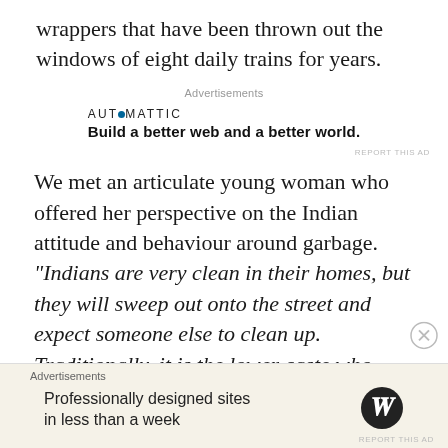wrappers that have been thrown out the windows of eight daily trains for years.
[Figure (infographic): Automattic advertisement: 'Build a better web and a better world.']
We met an articulate young woman who offered her perspective on the Indian attitude and behaviour around garbage. “Indians are very clean in their homes, but they will sweep out onto the street and expect someone else to clean up. Traditionally, it is the lower caste who pick up garbage and sweep up public spaces, so Indians consider handling garbage is dirty and not their job.” After
[Figure (infographic): WordPress advertisement: 'Professionally designed sites in less than a week']